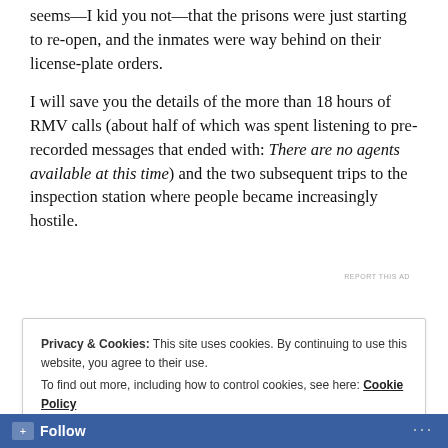seems—I kid you not—that the prisons were just starting to re-open, and the inmates were way behind on their license-plate orders.
I will save you the details of the more than 18 hours of RMV calls (about half of which was spent listening to pre-recorded messages that ended with: There are no agents available at this time) and the two subsequent trips to the inspection station where people became increasingly hostile.
REPORT THIS AD
Privacy & Cookies: This site uses cookies. By continuing to use this website, you agree to their use.
To find out more, including how to control cookies, see here: Cookie Policy
Close and accept
Follow